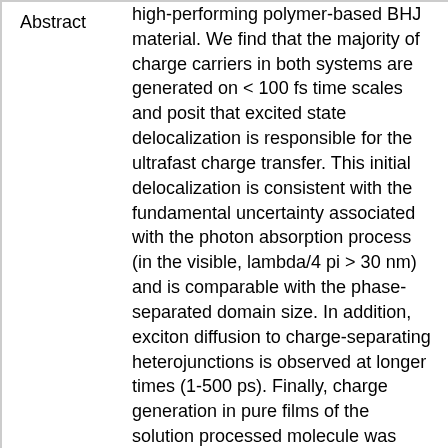high-performing polymer-based BHJ material. We find that the majority of charge carriers in both systems are generated on < 100 fs time scales and posit that excited state delocalization is responsible for the ultrafast charge transfer. This initial delocalization is consistent with the fundamental uncertainty associated with the photon absorption process (in the visible, lambda/4 pi > 30 nm) and is comparable with the phase-separated domain size. In addition, exciton diffusion to charge-separating heterojunctions is observed at longer times (1-500 ps). Finally, charge generation in pure films of the solution processed molecule was studied. Polarization anisotropy measurements clearly demonstrate that the optical